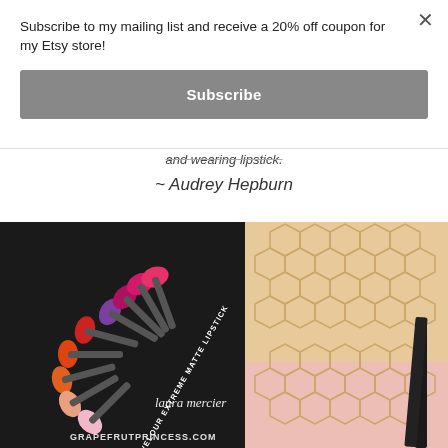Subscribe to my mailing list and receive a 20% off coupon for my Etsy store!
Subscribe
and wearing lipstick.
~ Audrey Hepburn
[Figure (photo): Flatlay photo showing Laura Mercier Velour Extreme Matte Lipstick display with multiple colorful lipstick swatches arranged in a fan/circle pattern on a dark tray, alongside a honeycomb-patterned gold and pink palette, with text overlay reading GRAPEFRUTPRINCESS.COM]